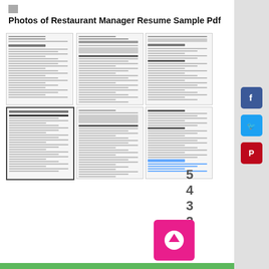Photos of Restaurant Manager Resume Sample Pdf
[Figure (illustration): Six thumbnail images of restaurant manager resume sample PDF pages arranged in two rows of three columns]
5 4 3 2 1